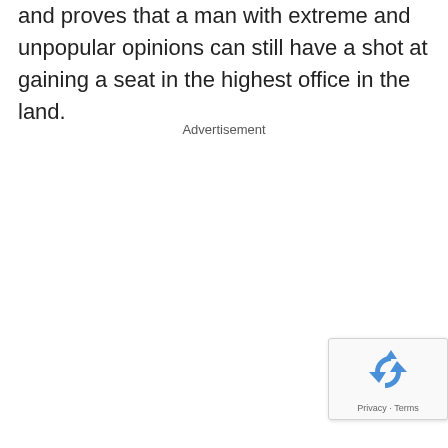and proves that a man with extreme and unpopular opinions can still have a shot at gaining a seat in the highest office in the land.
Advertisement
[Figure (other): reCAPTCHA widget showing recycling arrow icon and Privacy · Terms footer text]